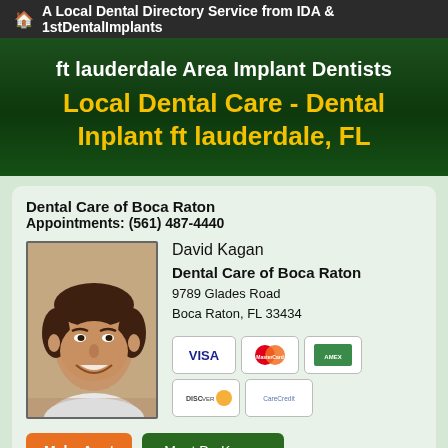A Local Dental Directory Service from IDA & 1stDentalImplants
ft lauderdale Area Implant Dentists
Local Dental Care - Dental Inplant ft lauderdale, FL
Dental Care of Boca Raton
Appointments: (561) 487-4440
[Figure (photo): Headshot photo of Dr. David Kagan, a smiling man with dark hair]
David Kagan
Dental Care of Boca Raton
9789 Glades Road
Boca Raton, FL 33434
[Figure (other): Payment method icons: VISA, MasterCard, American Express, Discover, CareCredit]
Make Appt
Meet Dr. Kagan
more info..